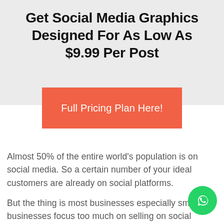Get Social Media Graphics Designed For As Low As $9.99 Per Post
[Figure (other): Orange call-to-action button with text 'Full Pricing Plan Here!']
Almost 50% of the entire world's population is on social media. So a certain number of your ideal customers are already on social platforms.
But the thing is most businesses especially small businesses focus too much on selling on social media rather than building a community and an audie
You won't do this. At least not after reading this article.
[Figure (other): WhatsApp floating action button (green circle with phone/chat icon)]